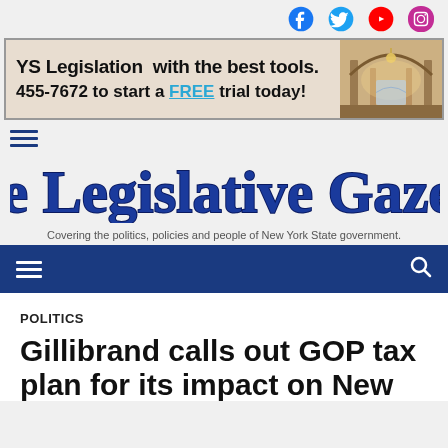Social icons: Facebook, Twitter, YouTube, Instagram
[Figure (infographic): Advertisement banner: 'YS Legislation with the best tools. 455-7672 to start a FREE trial today!' with a photo of an ornate legislative hall interior]
[Figure (logo): The Legislative Gazette masthead logo in cursive blue script]
Covering the politics, policies and people of New York State government.
POLITICS
Gillibrand calls out GOP tax plan for its impact on New